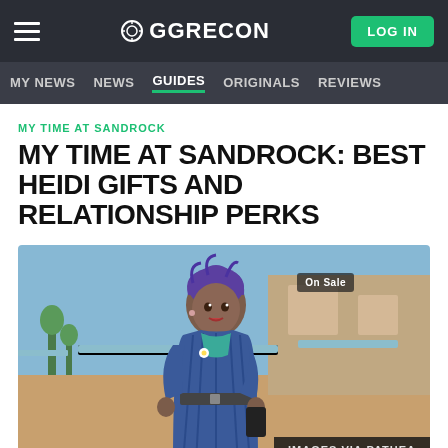GGRECON — MY NEWS | NEWS | GUIDES | ORIGINALS | REVIEWS
MY TIME AT SANDROCK
MY TIME AT SANDROCK: BEST HEIDI GIFTS AND RELATIONSHIP PERKS
[Figure (screenshot): Screenshot from My Time at Sandrock game showing a female character with purple hair in a blue striped outfit standing in front of a market stall. An 'On Sale' badge is visible. Credit reads IMAGES VIA PATHEA.]
WRITTEN BY KIERA MILLS
Posted 15TH JUN 2022 16:30